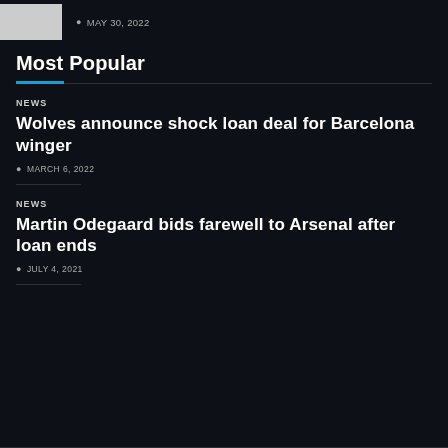[Figure (photo): Thumbnail image placeholder (light gray rectangle)]
MAY 30, 2022
Most Popular
NEWS
Wolves announce shock loan deal for Barcelona winger
MARCH 6, 2022
NEWS
Martin Odegaard bids farewell to Arsenal after loan ends
JULY 4, 2021